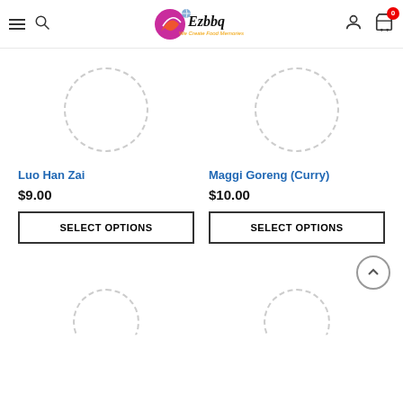Ezbbq - We Create Food Memories
[Figure (screenshot): Circular dashed placeholder image for Luo Han Zai product]
Luo Han Zai
$9.00
SELECT OPTIONS
[Figure (screenshot): Circular dashed placeholder image for Maggi Goreng (Curry) product]
Maggi Goreng (Curry)
$10.00
SELECT OPTIONS
[Figure (screenshot): Circular dashed placeholder images for next row of products (partially visible)]